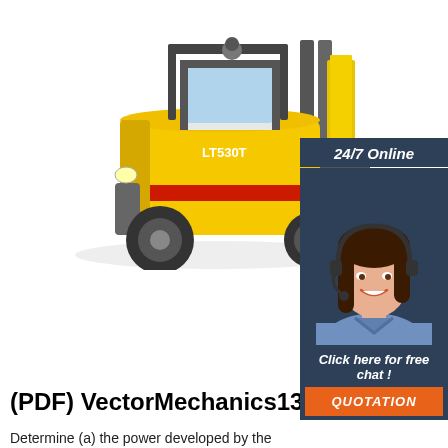[Figure (illustration): Yellow forklift (LT530T) on white background, viewed from front-left angle]
[Figure (photo): 24/7 Online panel with customer service agent wearing headset, smiling, with 'Click here for free chat!' text and orange QUOTATION button]
(PDF) VectorMechanics13.Po...
Determine (a) the power developed by the tugboat, (b) the maximum speed at which two tugboats, capable of delivering the same power, can tow the ship. A train of total mass equal to 500 Mg starts from rest and accelerates uniformly to a speed of 90 km/h in 50 s. After reaching this speed, the train travels with a constant velocity.